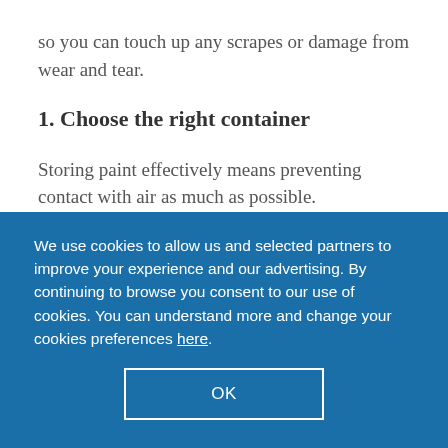so you can touch up any scrapes or damage from wear and tear.
1. Choose the right container
Storing paint effectively means preventing contact with air as much as possible.
If your paint can is almost full, then it's fine to
We use cookies to allow us and selected partners to improve your experience and our advertising. By continuing to browse you consent to our use of cookies. You can understand more and change your cookies preferences here.